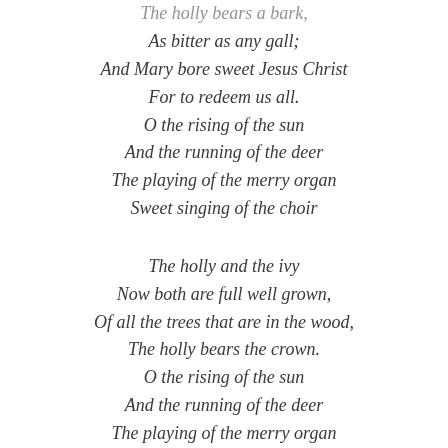The holly bears a bark, / As bitter as any gall; / And Mary bore sweet Jesus Christ / For to redeem us all. / O the rising of the sun / And the running of the deer / The playing of the merry organ / Sweet singing of the choir
The holly and the ivy / Now both are full well grown, / Of all the trees that are in the wood, / The holly bears the crown. / O the rising of the sun / And the running of the deer / The playing of the merry organ